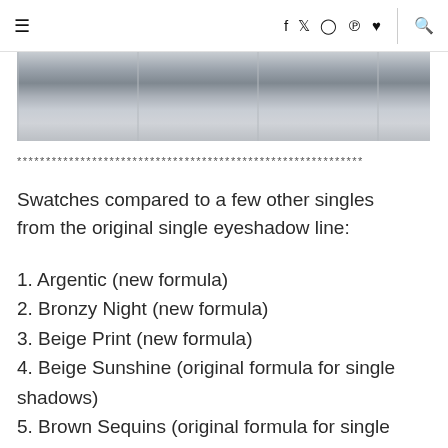≡  f  twitter  instagram  pinterest  ♥  |  search
[Figure (photo): Cropped photo of metallic/chrome eyeshadow compacts arranged in a row]
************************************************************
Swatches compared to a few other singles from the original single eyeshadow line:
1. Argentic (new formula)
2. Bronzy Night (new formula)
3. Beige Print (new formula)
4. Beige Sunshine (original formula for single shadows)
5. Brown Sequins (original formula for single shadows)